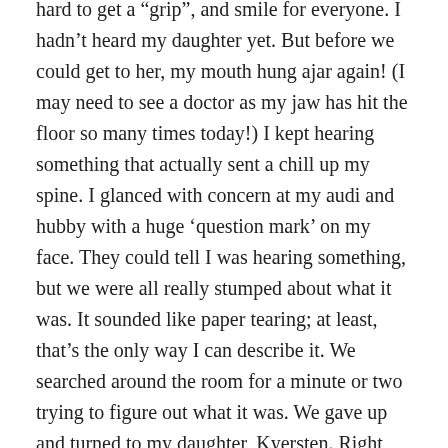hard to get a “grip”, and smile for everyone. I hadn’t heard my daughter yet. But before we could get to her, my mouth hung ajar again! (I may need to see a doctor as my jaw has hit the floor so many times today!) I kept hearing something that actually sent a chill up my spine. I glanced with concern at my audi and hubby with a huge ‘question mark’ on my face. They could tell I was hearing something, but we were all really stumped about what it was. It sounded like paper tearing; at least, that’s the only way I can describe it. We searched around the room for a minute or two trying to figure out what it was. We gave up and turned to my daughter, Kyersten. Right before she said, “hello”, it hit me like a ton of bricks what I was hearing – and I’m pretty certain I squealed. Since everyone’s eyebrows went up, I’m fairly certain it was loud!